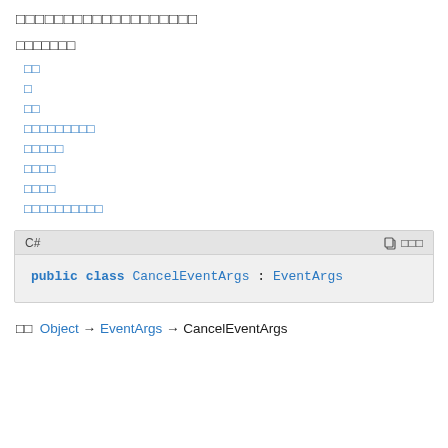□□□□□□□□□□□□□□□□□□□
□□□□□□□
□□
□
□□
□□□□□□□□□
□□□□□
□□□□
□□□□
□□□□□□□□□□
C#
public class CancelEventArgs : EventArgs
継承  Object → EventArgs → CancelEventArgs